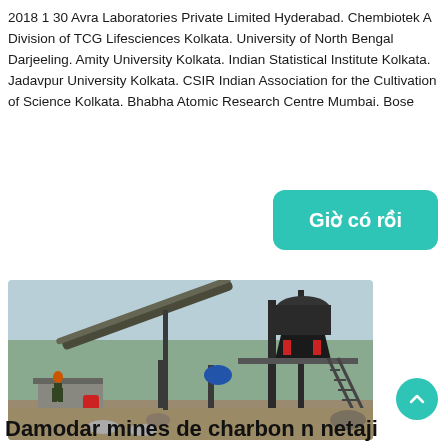2018 1 30 Avra Laboratories Private Limited Hyderabad. Chembiotek A Division of TCG Lifesciences Kolkata. University of North Bengal Darjeeling. Amity University Kolkata. Indian Statistical Institute Kolkata. Jadavpur University Kolkata. CSIR Indian Association for the Cultivation of Science Kolkata. Bhabha Atomic Research Centre Mumbai. Bose
[Figure (other): Button/badge with text 'Giờ có rồi' in white on teal/green background with rounded corners]
[Figure (photo): Industrial mining machinery and equipment on a construction/mining site outdoors, with a worker visible, large cone crusher on elevated platform with stairs, conveyor belt structure, cloudy sky background]
Damodar mines de charbon n netaji